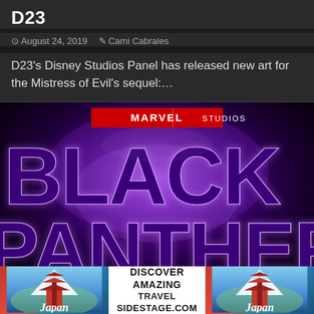D23
August 24, 2019   Cami Cabrales
D23's Disney Studios Panel has released new art for the Mistress of Evil's sequel:…
[Figure (photo): Black Panther Marvel Studios promotional image with large purple neon-lit logo text. Tags: DISNEY LIVE-ACTION, MARVEL]
[Figure (other): Advertisement banner: Japan tourism ad with pagoda images and text DISCOVER AMAZING TRAVEL SIDESTAGE.COM]